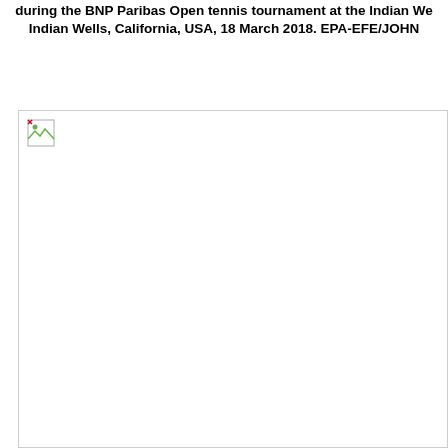during the BNP Paribas Open tennis tournament at the Indian We Indian Wells, California, USA, 18 March 2018. EPA-EFE/JOHN
[Figure (photo): A large photograph (broken/unloaded image placeholder) occupying the lower portion of the page, associated with a caption about the BNP Paribas Open tennis tournament at Indian Wells, California, USA, 18 March 2018.]